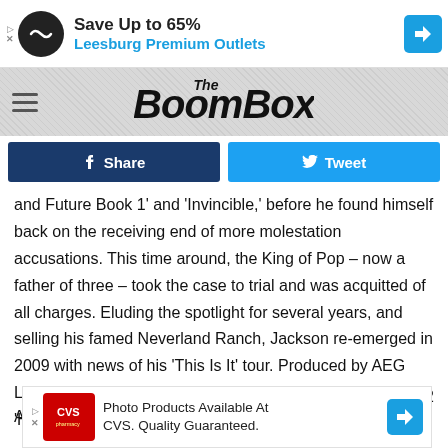[Figure (other): Advertisement banner: Save Up to 65% Leesburg Premium Outlets with logo icon and navigation arrow]
[Figure (logo): The BoomBox website logo in graffiti-style lettering on grey textured background with hamburger menu icon]
[Figure (other): Social sharing buttons: Facebook Share (dark blue) and Twitter Tweet (light blue)]
and Future Book 1' and 'Invincible,' before he found himself back on the receiving end of more molestation accusations. This time around, the King of Pop – now a father of three – took the case to trial and was acquitted of all charges. Eluding the spotlight for several years, and selling his famed Neverland Ranch, Jackson re-emerged in 2009 with news of his 'This Is It' tour. Produced by AEG Live, Jackson was to relink with his 'Dangerous' and 'HiStory' world tour director, Kenny
[Figure (other): Advertisement: Photo Products Available At CVS. Quality Guaranteed. with CVS pharmacy logo and navigation arrow]
O2 Arena.